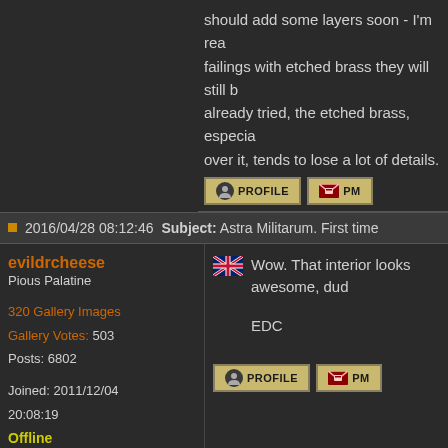should add some layers soon - I'm rea... failings with etched brass they will still b... already tried, the etched brass, especia... over it, tends to lose a lot of details.
2016/04/28 08:12:46   Subject: Astra Militarum. First time
evildrcheese
Pious Palatine
Wow. That interior looks awesome, dud...
EDC
320 Gallery Images
Gallery Votes: 503
Posts: 6802
Joined: 2011/12/04 20:08:19
Offline
Filter Thread
Direct Link This Post